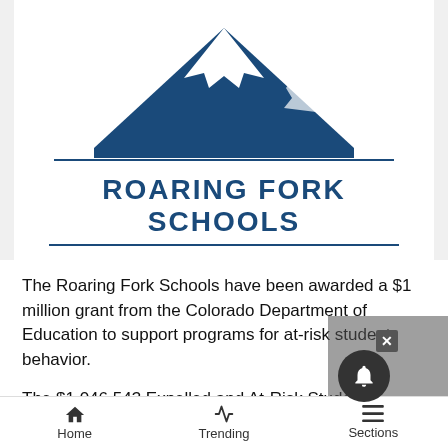[Figure (logo): Roaring Fork Schools logo with mountain graphic in blue and school name text]
The Roaring Fork Schools have been awarded a $1 million grant from the Colorado Department of Education to support programs for at-risk student behavior.
The $1,046,543 Expelled and At-Risk Student Services (EARSS) grant provides four years of funding for education and support services to expelled students, students at risk of being expelled, and students at risk